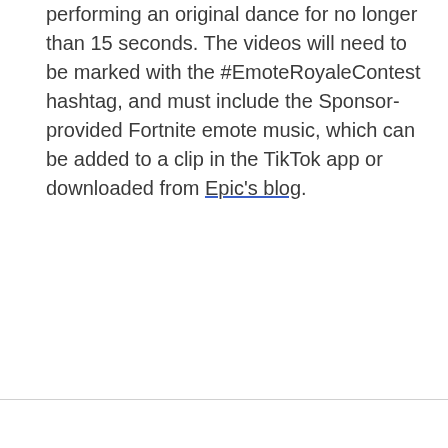performing an original dance for no longer than 15 seconds. The videos will need to be marked with the #EmoteRoyaleContest hashtag, and must include the Sponsor-provided Fortnite emote music, which can be added to a clip in the TikTok app or downloaded from Epic's blog.